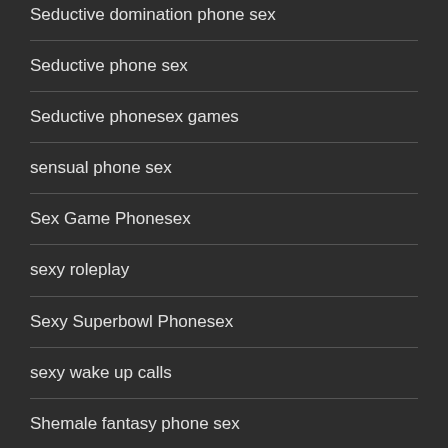Seductive domination phone sex
Seductive phone sex
Seductive phonesex games
sensual phone sex
Sex Game Phonesex
sexy roleplay
Sexy Superbowl Phonesex
sexy wake up calls
Shemale fantasy phone sex
Shemale fantasy roleplay
Shemale phone sex